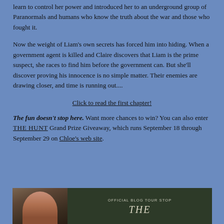learn to control her power and introduced her to an underground group of Paranormals and humans who know the truth about the war and those who fought it.
Now the weight of Liam's own secrets has forced him into hiding. When a government agent is killed and Claire discovers that Liam is the prime suspect, she races to find him before the government can. But she'll discover proving his innocence is no simple matter. Their enemies are drawing closer, and time is running out....
Click to read the first chapter!
The fun doesn't stop here. Want more chances to win? You can also enter THE HUNT Grand Prize Giveaway, which runs September 18 through September 29 on Chloe's web site.
[Figure (photo): Official Blog Tour Stop banner with a woman with red hair on the left and text 'OFFICIAL BLOG TOUR STOP' and partial title text on dark green background]